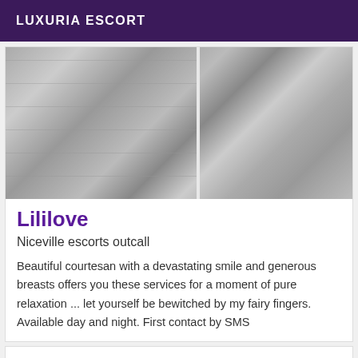LUXURIA ESCORT
[Figure (photo): Black and white photo of a woman in black lace lingerie in a tiled room]
Lililove
Niceville escorts outcall
Beautiful courtesan with a devastating smile and generous breasts offers you these services for a moment of pure relaxation ... let yourself be bewitched by my fairy fingers. Available day and night. First contact by SMS